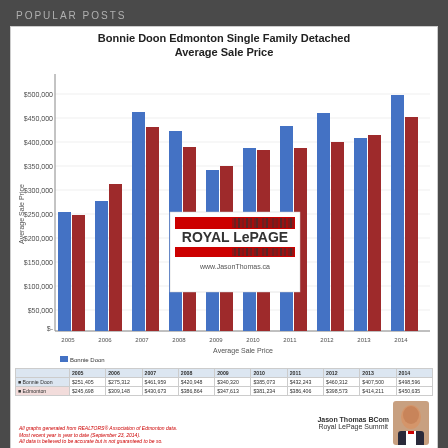POPULAR POSTS
[Figure (grouped-bar-chart): Bonnie Doon Edmonton Single Family Detached Average Sale Price]
September 23, 2014
BONNIE DOON HOMES FOR SALE
Share   Post a Comment